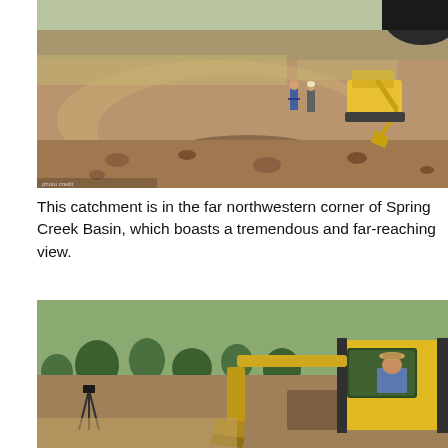[Figure (photo): Outdoor photo of a construction site in an arid landscape. A yellow mini excavator is digging a trench through dry, rocky soil. Two workers stand nearby. In the upper right, a large black cylindrical tank is visible. Dry grass and sparse scrub vegetation cover the surroundings.]
This catchment is in the far northwestern corner of Spring Creek Basin, which boasts a tremendous and far-reaching view.
[Figure (photo): Outdoor photo showing a yellow excavator in operation in an arid, hilly landscape with juniper trees. The excavator bucket is visible mid-dig. A man wearing a cowboy hat sits in the cab of the machine. A surveying tripod is visible on the left. Dry grasses and sparse shrubs cover the hillside in the background.]